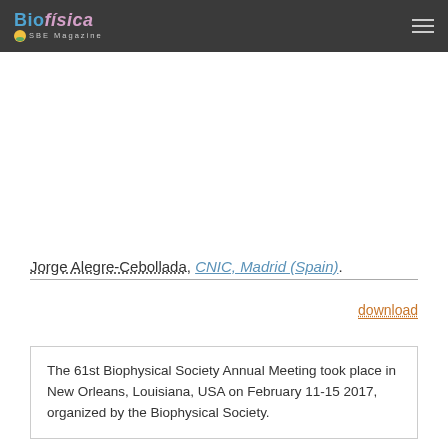Biofísica SBE Magazine
Jorge Alegre-Cebollada, CNIC, Madrid (Spain).
download
The 61st Biophysical Society Annual Meeting took place in New Orleans, Louisiana, USA on February 11-15 2017, organized by the Biophysical Society.